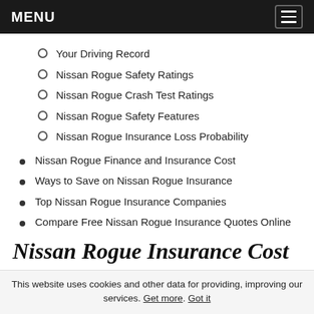MENU
Your Driving Record
Nissan Rogue Safety Ratings
Nissan Rogue Crash Test Ratings
Nissan Rogue Safety Features
Nissan Rogue Insurance Loss Probability
Nissan Rogue Finance and Insurance Cost
Ways to Save on Nissan Rogue Insurance
Top Nissan Rogue Insurance Companies
Compare Free Nissan Rogue Insurance Quotes Online
Nissan Rogue Insurance Cost
The average Nissan Rogue insurance rates are $1,412 a year or $118 a month
This website uses cookies and other data for providing, improving our services. Get more. Got it